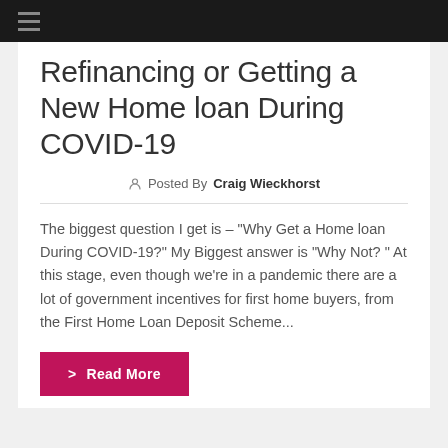Refinancing or Getting a New Home loan During COVID-19
Posted By Craig Wieckhorst
The biggest question I get is &ndash; "Why Get a Home loan During COVID-19?" My Biggest answer is "Why Not? " At this stage, even though we're in a pandemic there are a lot of government incentives for first home buyers, from the First Home Loan Deposit Scheme...
Read More